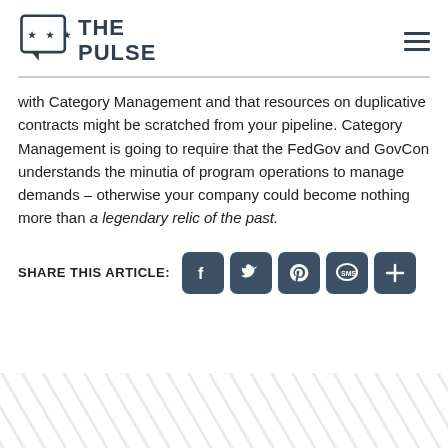[Figure (logo): The Pulse logo with speech bubble icon containing three stars and bold text 'THE PULSE']
with Category Management and that resources on duplicative contracts might be scratched from your pipeline. Category Management is going to require that the FedGov and GovCon understands the minutia of program operations to manage demands – otherwise your company could become nothing more than a legendary relic of the past.
SHARE THIS ARTICLE: